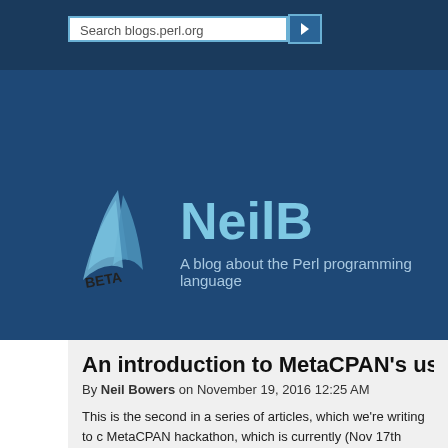Search blogs.perl.org
[Figure (logo): blogs.perl.org BETA logo with sail/wave graphic and NeilB site title]
NeilB
A blog about the Perl programming language
An introduction to MetaCPAN's use of E
By Neil Bowers on November 19, 2016 12:25 AM
This is the second in a series of articles, which we're writing to c MetaCPAN hackathon, which is currently (Nov 17th through 21s
This hackathon was by invitation only, since it had a very specifi of the live service to MetaCPAN v1 (which includes a major Elas to 2.4, or nearly 70 stable releases forward). Once that's done, a spent fixing bugs, and discussing what comes next. The attende MetaCPAN), Mickey Nasriachi, Leo Lapworth, Tom Sibley, Joel L